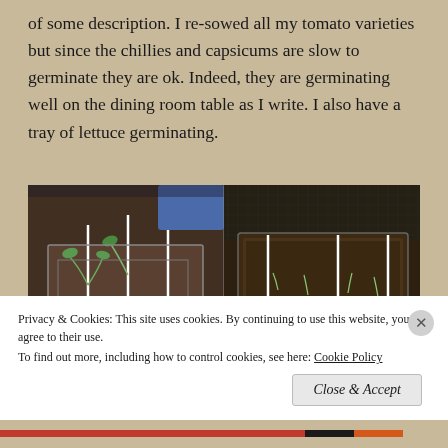of some description. I re-sowed all my tomato varieties but since the chillies and capsicums are slow to germinate they are ok. Indeed, they are germinating well on the dining room table as I write. I also have a tray of lettuce germinating.
[Figure (photo): Two side-by-side photos of seed trays with young seedlings sprouting from dark soil, with white plant labels/markers visible in the trays.]
Privacy & Cookies: This site uses cookies. By continuing to use this website, you agree to their use.
To find out more, including how to control cookies, see here: Cookie Policy